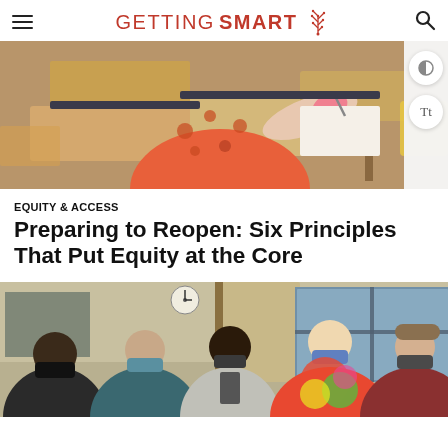GETTING SMART
[Figure (photo): Student in orange floral jacket writing at a school desk, photographed from behind, with other empty desks visible in background]
EQUITY & ACCESS
Preparing to Reopen: Six Principles That Put Equity at the Core
[Figure (photo): Group of students wearing face masks standing in a classroom, one wearing a colorful tie-dye jacket]